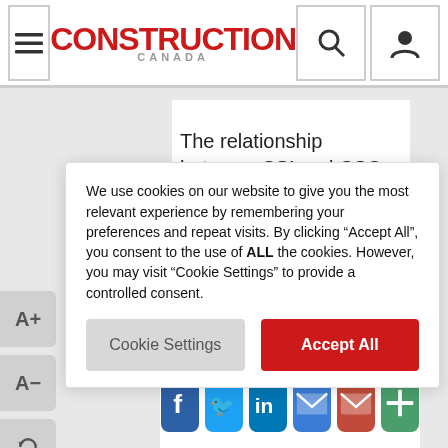CONSTRUCTION CANADA [navigation bar with menu, search, and user icons]
The relationship between CSI and CSC remains strong. I am proud to be a member of both organizations, and I feel fortunate to have developed many long-term relationships, indeed, friendships, that have been of personal and professional benefit.

To me, the greatest value of membership comes from the networking opportunities and the
We use cookies on our website to give you the most relevant experience by remembering your preferences and repeat visits. By clicking “Accept All”, you consent to the use of ALL the cookies. However, you may visit “Cookie Settings” to provide a controlled consent.
Cookie Settings | Accept All